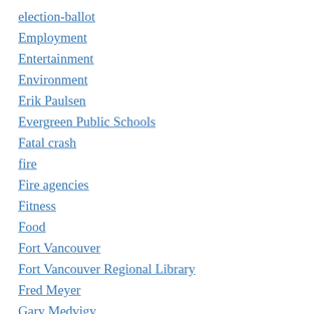election-ballot
Employment
Entertainment
Environment
Erik Paulsen
Evergreen Public Schools
Fatal crash
fire
Fire agencies
Fitness
Food
Fort Vancouver
Fort Vancouver Regional Library
Fred Meyer
Gary Medvigy